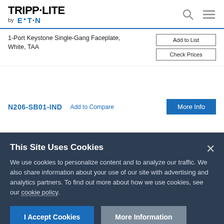[Figure (logo): Tripp-Lite by Eaton logo in header]
1-Port Keystone Single-Gang Faceplate, White, TAA
Add to List
Check Prices
N206-SB01-IND
Add to Compare
More Info
This Site Uses Cookies
We use cookies to personalize content and to analyze our traffic. We also share information about your use of our site with advertising and analytics partners. To find out more about how we use cookies, see our cookie policy.
I Accept Cookies
More Information